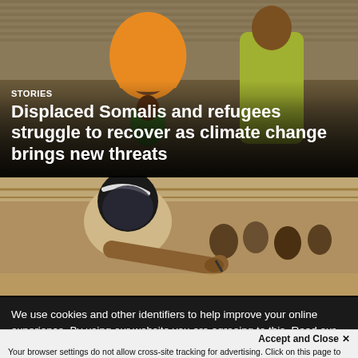[Figure (photo): A woman wearing an orange/yellow hijab holding a child, with other people in the background near corrugated metal structures]
STORIES
Displaced Somalis and refugees struggle to recover as climate change brings new threats
[Figure (photo): A person leaning over a desk writing, with other people seated in the background in what appears to be a classroom or registration setting]
We use cookies and other identifiers to help improve your online experience. By using our website you are agreeing to this. Read our privacy policy to find out what cookies are used for and how to change your settings.
Accept and Close ✕
Your browser settings do not allow cross-site tracking for advertising. Click on this page to allow AdRoll to use cross-site tracking to tailor ads to you. Learn more or opt out of this AdRoll tracking by clicking here. This message only appears once.